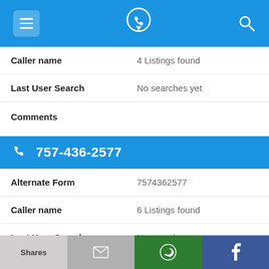App header bar with menu, phone location icon, and search icon
Caller name   4 Listings found
Last User Search   No searches yet
Comments
757-436-2577
Alternate Form   7574362577
Caller name   6 Listings found
Last User Search   No searches yet
Shares | [email icon] | [WhatsApp icon] | [Facebook icon]